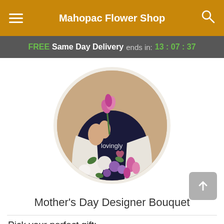Mahopac Flower Shop
FREE Same Day Delivery ends in: 13:07:37
[Figure (photo): Circular photo of a florist holding a pink tulip, wearing a black 'lovingly' branded shirt, with an arrangement of pink, purple, and white flowers in the foreground]
Mother's Day Designer Bouquet
Pick your perfect gift: